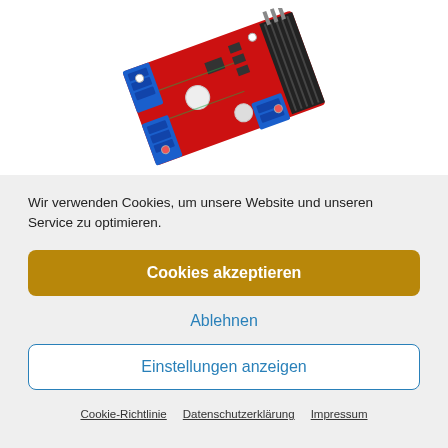[Figure (photo): A red L298N motor driver PCB module with blue terminal blocks, black heat sink, and electronic components, photographed at an angle on white background.]
Wir verwenden Cookies, um unsere Website und unseren Service zu optimieren.
Cookies akzeptieren
Ablehnen
Einstellungen anzeigen
Cookie-Richtlinie   Datenschutzerklärung   Impressum